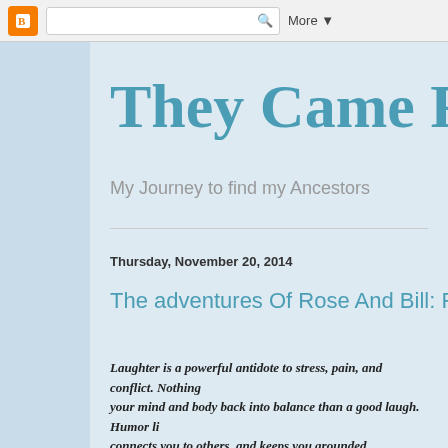More ▼
They Came F...
My Journey to find my Ancestors
Thursday, November 20, 2014
The adventures Of Rose And Bill: Frie...
Laughter is a powerful antidote to stress, pain, and conflict. Nothing works faster or more dependably to bring your mind and body back into balance than a good laugh. Humor lightens your burdens, inspires hopes, connects you to others, and keeps you grounded. Sometimes we all just need to feed the soul...